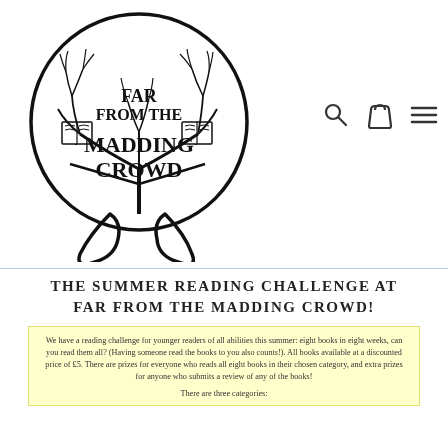[Figure (logo): Circular logo with tree branches and two open book icons. Text inside reads 'FAR FROM THE MADDING CROWD'. The tree roots form two teardrop/loop shapes at the bottom.]
[Figure (other): Navigation icons: magnifying glass (search), shopping bag (cart), and three horizontal lines (hamburger menu)]
THE SUMMER READING CHALLENGE AT FAR FROM THE MADDING CROWD!
We have a reading challenge for younger readers of all abilities this summer: eight books in eight weeks, can you read them all? (Having someone read the books to you also counts!). All books available at a discounted price of £5. There are prizes for everyone who reads all eight books in their chosen category, and extra prizes for anyone who submits a review of any of the books! There are three categories: